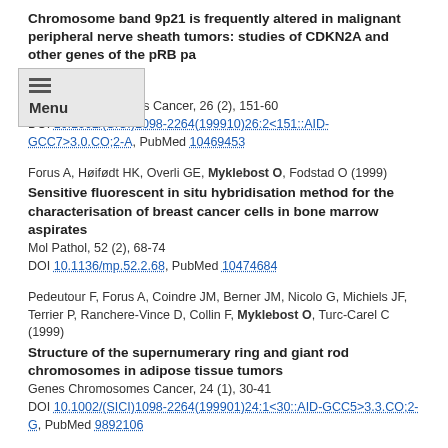Chromosome band 9p21 is frequently altered in malignant peripheral nerve sheath tumors: studies of CDKN2A and other genes of the pRB pathway
Genes Chromosomes Cancer, 26 (2), 151-60
DOI 10.1002/(SICI)1098-2264(199910)26:2<151::AID-GCC7>3.0.CO;2-A, PubMed 10469453
Forus A, Høifødt HK, Overli GE, Myklebost O, Fodstad O (1999)
Sensitive fluorescent in situ hybridisation method for the characterisation of breast cancer cells in bone marrow aspirates
Mol Pathol, 52 (2), 68-74
DOI 10.1136/mp.52.2.68, PubMed 10474684
Pedeutour F, Forus A, Coindre JM, Berner JM, Nicolo G, Michiels JF, Terrier P, Ranchere-Vince D, Collin F, Myklebost O, Turc-Carel C (1999)
Structure of the supernumerary ring and giant rod chromosomes in adipose tissue tumors
Genes Chromosomes Cancer, 24 (1), 30-41
DOI 10.1002/(SICI)1098-2264(199901)24:1<30::AID-GCC5>3.3.CO;2-G, PubMed 9892106
Simons A, Schepens M, Forus A, Godager L, van Asseldonk M, Myklebost O, van Kessel AG (1999)